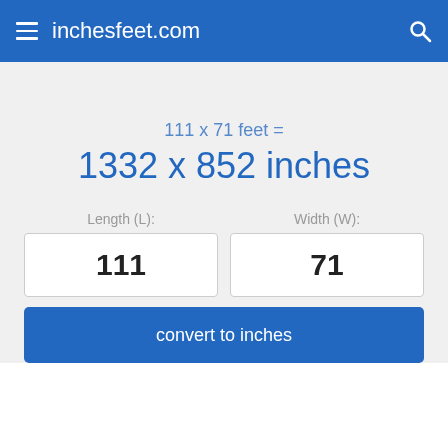inchesfeet.com
111 x 71 feet =
1332 x 852 inches
Length (L):
Width (W):
111
71
convert to inches